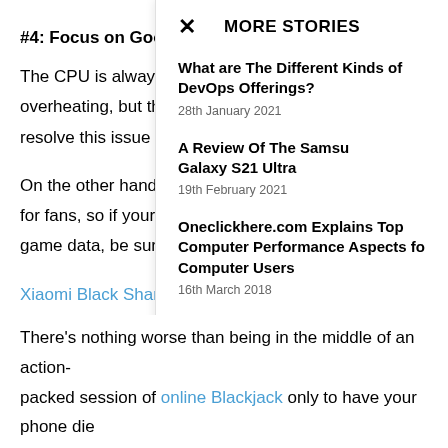#4: Focus on Good
The CPU is always overheating, but tha resolve this issue w
On the other hand, for fans, so if yours game data, be sure
Xiaomi Black Shark
#5: Prioritize Battery
There's nothing worse than being in the middle of an action packed session of online Blackjack only to have your phone die
MORE STORIES
What are The Different Kinds of DevOps Offerings?
28th January 2021
A Review Of The Samsung Galaxy S21 Ultra
19th February 2021
Oneclickhere.com Explains Top Computer Performance Aspects for Computer Users
16th March 2018